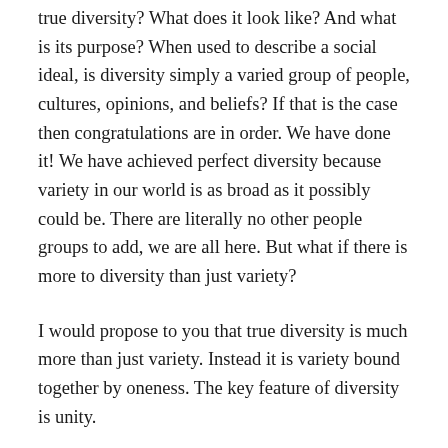true diversity? What does it look like? And what is its purpose? When used to describe a social ideal, is diversity simply a varied group of people, cultures, opinions, and beliefs? If that is the case then congratulations are in order. We have done it! We have achieved perfect diversity because variety in our world is as broad as it possibly could be. There are literally no other people groups to add, we are all here. But what if there is more to diversity than just variety?
I would propose to you that true diversity is much more than just variety. Instead it is variety bound together by oneness. The key feature of diversity is unity.